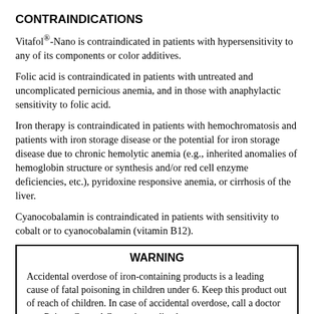CONTRAINDICATIONS
Vitafol®-Nano is contraindicated in patients with hypersensitivity to any of its components or color additives.
Folic acid is contraindicated in patients with untreated and uncomplicated pernicious anemia, and in those with anaphylactic sensitivity to folic acid.
Iron therapy is contraindicated in patients with hemochromatosis and patients with iron storage disease or the potential for iron storage disease due to chronic hemolytic anemia (e.g., inherited anomalies of hemoglobin structure or synthesis and/or red cell enzyme deficiencies, etc.), pyridoxine responsive anemia, or cirrhosis of the liver.
Cyanocobalamin is contraindicated in patients with sensitivity to cobalt or to cyanocobalamin (vitamin B12).
WARNING
Accidental overdose of iron-containing products is a leading cause of fatal poisoning in children under 6. Keep this product out of reach of children. In case of accidental overdose, call a doctor or a Poison Control Center immediately.